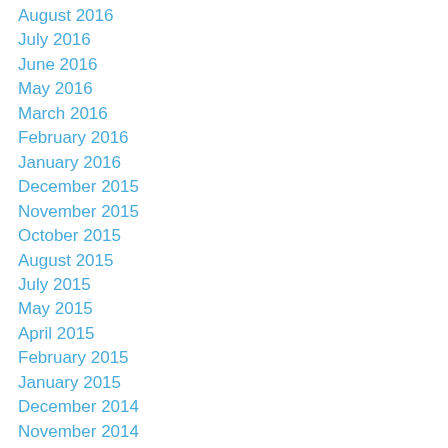August 2016
July 2016
June 2016
May 2016
March 2016
February 2016
January 2016
December 2015
November 2015
October 2015
August 2015
July 2015
May 2015
April 2015
February 2015
January 2015
December 2014
November 2014
October 2014
August 2014